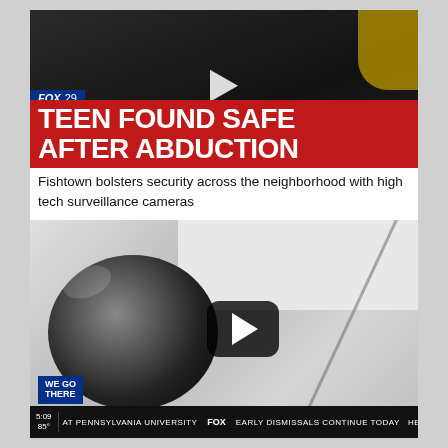[Figure (screenshot): FOX 29 news screenshot showing a police vehicle at night with a play button overlay. Red banner reads 'TEEN FOUND SAFE AFTER ABDUCTION' with FOX 29 logo.]
Fishtown bolsters security across the neighborhood with high tech surveillance cameras
[Figure (screenshot): FOX 29 news video screenshot of a dome security surveillance camera mounted on a ceiling. Play button overlay in center. Bottom bar shows 'WE GO THERE' badge and ticker: '5:09 85° AT PENNSYLVANIA UNIVERSITY FOX EARLY DISMISSALS CONTINUE TODAY HEADLINES'.]